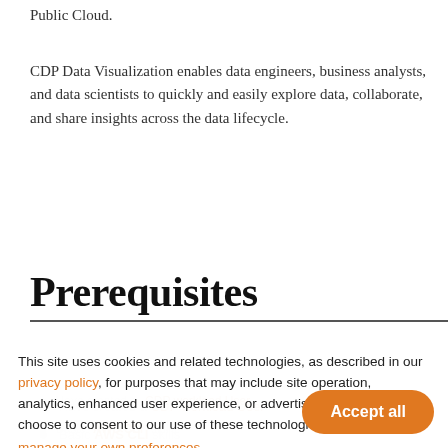Public Cloud.
CDP Data Visualization enables data engineers, business analysts, and data scientists to quickly and easily explore data, collaborate, and share insights across the data lifecycle.
Prerequisites
This site uses cookies and related technologies, as described in our privacy policy, for purposes that may include site operation, analytics, enhanced user experience, or advertising. You may choose to consent to our use of these technologies, or manage your own preferences.
Have created a CDP workload User
Basic AWS CLI skills